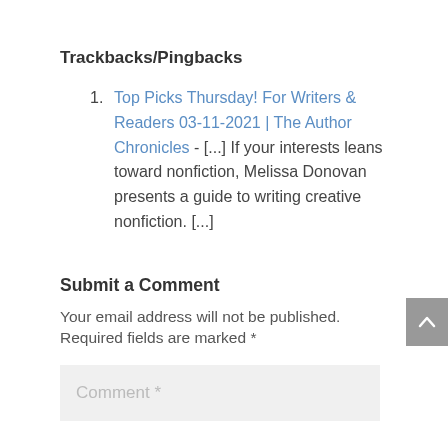Trackbacks/Pingbacks
Top Picks Thursday! For Writers & Readers 03-11-2021 | The Author Chronicles - [...] If your interests leans toward nonfiction, Melissa Donovan presents a guide to writing creative nonfiction. [...]
Submit a Comment
Your email address will not be published. Required fields are marked *
Comment *